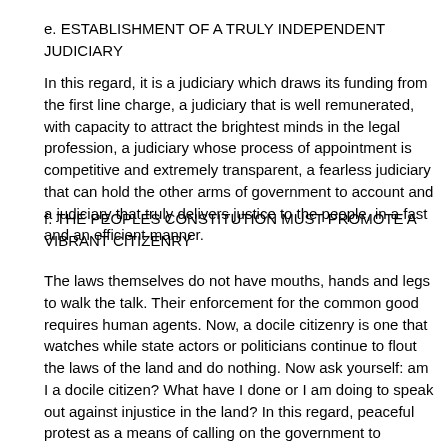e. ESTABLISHMENT OF A TRULY INDEPENDENT JUDICIARY
In this regard, it is a judiciary which draws its funding from the first line charge, a judiciary that is well remunerated, with capacity to attract the brightest minds in the legal profession, a judiciary whose process of appointment is competitive and extremely transparent, a fearless judiciary that can hold the other arms of government to account and a judiciary that truly delivers justice to the people, in a fast and an efficient manner.
f. THE PEOPLES CONSTITUTION MUST PROMOTE A VIBRANT CITIZENRY
The laws themselves do not have mouths, hands and legs to walk the talk. Their enforcement for the common good requires human agents. Now, a docile citizenry is one that watches while state actors or politicians continue to flout the laws of the land and do nothing. Now ask yourself: am I a docile citizen? What have I done or I am doing to speak out against injustice in the land? In this regard, peaceful protest as a means of calling on the government to address issues of concern must be encouraged. Security must be provided to protesters to prevent hijack by enemies of democracy.